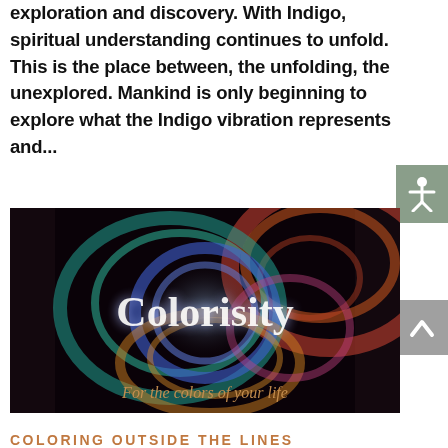exploration and discovery. With Indigo, spiritual understanding continues to unfold. This is the place between, the unfolding, the unexplored. Mankind is only beginning to explore what the Indigo vibration represents and...
[Figure (illustration): Colorisity brand image with colorful swirling energy/light patterns on a black background. The word 'Colorisity' is written in large white text in the center, and the tagline 'For the colors of your life' appears in italicized golden/copper script at the bottom.]
COLORING OUTSIDE THE LINES